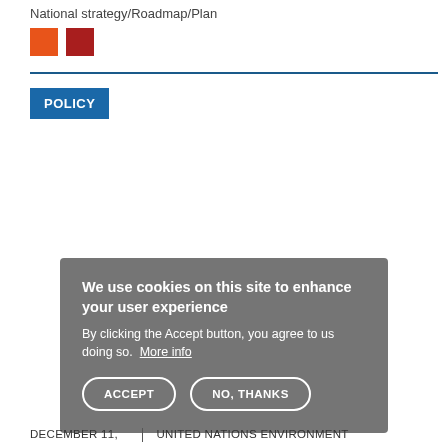National strategy/Roadmap/Plan
[Figure (infographic): Two colored squares: orange and dark red]
[Figure (other): Horizontal blue divider line]
POLICY
We use cookies on this site to enhance your user experience
By clicking the Accept button, you agree to us doing so. More info
ACCEPT   NO, THANKS
DECEMBER 11,  | UNITED NATIONS ENVIRONMENT